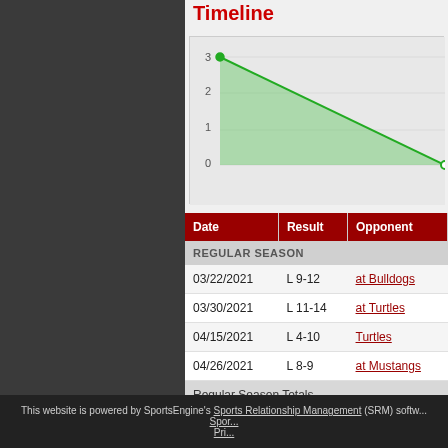Timeline
[Figure (area-chart): Area chart showing score or wins over time, starting at 3 and declining to near 0, with green shaded area under the line.]
| Date | Result | Opponent |
| --- | --- | --- |
| REGULAR SEASON |  |  |
| 03/22/2021 | L 9-12 | at Bulldogs |
| 03/30/2021 | L 11-14 | at Turtles |
| 04/15/2021 | L 4-10 | Turtles |
| 04/26/2021 | L 8-9 | at Mustangs |
| Regular Season Totals |  |  |
| Mar. - May 2021 Totals |  |  |
This website is powered by SportsEngine's Sports Relationship Management (SRM) software